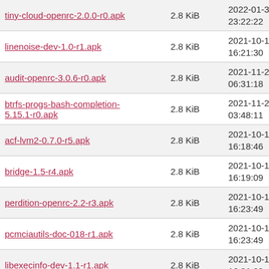| Filename | Size | Date/Time |
| --- | --- | --- |
| tiny-cloud-openrc-2.0.0-r0.apk | 2.8 KiB | 2022-01-30 23:22:22 |
| linenoise-dev-1.0-r1.apk | 2.8 KiB | 2021-10-17 16:21:30 |
| audit-openrc-3.0.6-r0.apk | 2.8 KiB | 2021-11-22 06:31:18 |
| btrfs-progs-bash-completion-5.15.1-r0.apk | 2.8 KiB | 2021-11-24 03:48:11 |
| acf-lvm2-0.7.0-r5.apk | 2.8 KiB | 2021-10-17 16:18:46 |
| bridge-1.5-r4.apk | 2.8 KiB | 2021-10-17 16:19:09 |
| perdition-openrc-2.2-r3.apk | 2.8 KiB | 2021-10-17 16:23:49 |
| pcmciautils-doc-018-r1.apk | 2.8 KiB | 2021-10-17 16:23:49 |
| libexecinfo-dev-1.1-r1.apk | 2.8 KiB | 2021-10-17 16:21:22 |
| sysfsutils-doc-2.1.1-r0.apk | 2.8 KiB | 2021-10-17 16:24:16 |
| libxshmfence-dev-1.3-r1.apk | 2.8 KiB | 2021-10-17 16:21:30 |